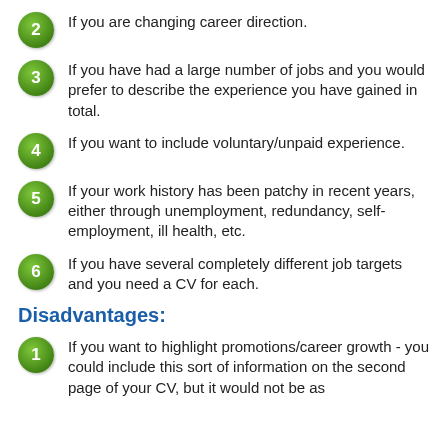2 If you are changing career direction.
3 If you have had a large number of jobs and you would prefer to describe the experience you have gained in total.
4 If you want to include voluntary/unpaid experience.
5 If your work history has been patchy in recent years, either through unemployment, redundancy, self-employment, ill health, etc.
6 If you have several completely different job targets and you need a CV for each.
Disadvantages:
1 If you want to highlight promotions/career growth - you could include this sort of information on the second page of your CV, but it would not be as